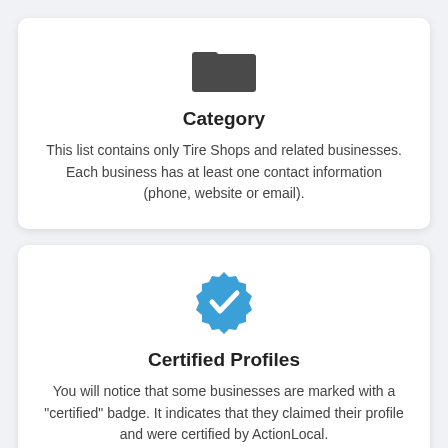[Figure (illustration): Dark grey folder icon]
Category
This list contains only Tire Shops and related businesses. Each business has at least one contact information (phone, website or email).
[Figure (illustration): Blue verified/certified badge with white checkmark]
Certified Profiles
You will notice that some businesses are marked with a "certified" badge. It indicates that they claimed their profile and were certified by ActionLocal.